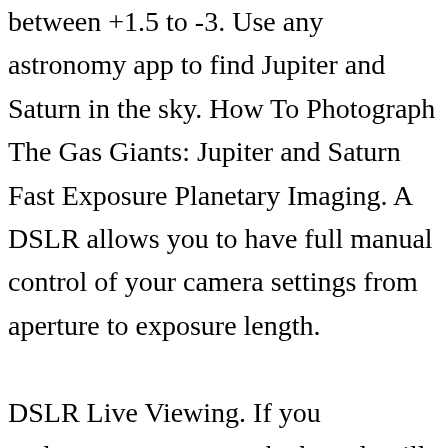between +1.5 to -3. Use any astronomy app to find Jupiter and Saturn in the sky. How To Photograph The Gas Giants: Jupiter and Saturn Fast Exposure Planetary Imaging. A DSLR allows you to have full manual control of your camera settings from aperture to exposure length.

DSLR Live Viewing. If you underexpose, your stacked result will be noisy, and might not be salvageable. No telescope required. Photographing the Moon with a DSLR and a Telescope - YouTube